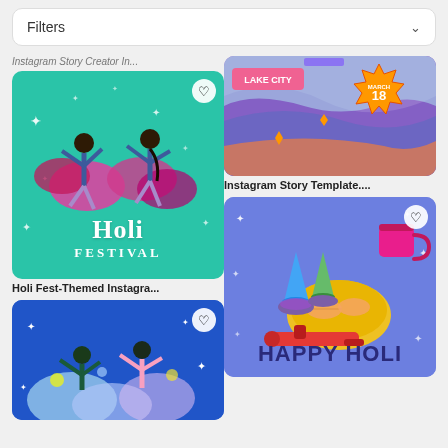Filters
[Figure (screenshot): Holi Festival themed Instagram template card with teal background showing two figures dancing with pink/purple color clouds, white text reading 'Holi Festival']
Holi Fest-Themed Instagra...
[Figure (screenshot): Cropped Instagram Story template with purple/blue wavy background showing 'LAKE CITY' and 'MARCH 18' starburst badge]
Instagram Story Template....
[Figure (screenshot): Happy Holi card on blue/purple background showing colorful powder cones, a plate with sweets, a mug and water gun, with text 'HAPPY HOLI']
[Figure (screenshot): Blue background festival card showing people dancing with colorful powder clouds and sparkles (partially visible/cropped at bottom)]